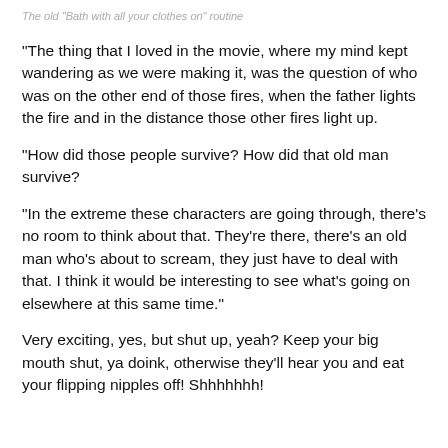The old "Bath with all your clothes on" routine
“The thing that I loved in the movie, where my mind kept wandering as we were making it, was the question of who was on the other end of those fires, when the father lights the fire and in the distance those other fires light up.
“How did those people survive? How did that old man survive?
“In the extreme these characters are going through, there’s no room to think about that. They’re there, there’s an old man who’s about to scream, they just have to deal with that. I think it would be interesting to see what’s going on elsewhere at this same time.”
Very exciting, yes, but shut up, yeah? Keep your big mouth shut, ya doink, otherwise they’ll hear you and eat your flipping nipples off! Shhhhhhh!